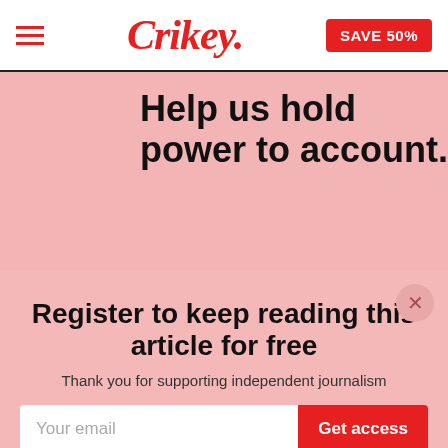Crikey. SAVE 50%
Help us hold power to account.
Register to keep reading this article for free
Thank you for supporting independent journalism
Your email
Get access
By submitting this form, you agree to accept Crikey's terms and conditions
I'll do this later